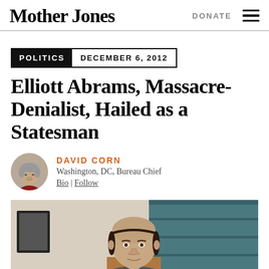Mother Jones   DONATE
POLITICS   DECEMBER 6, 2012
Elliott Abrams, Massacre-Denialist, Hailed as a Statesman
DAVID CORN
Washington, DC, Bureau Chief
Bio | Follow
[Figure (photo): Photo of Elliott Abrams, a balding man in a suit, photographed indoors with bookshelves visible in the background.]